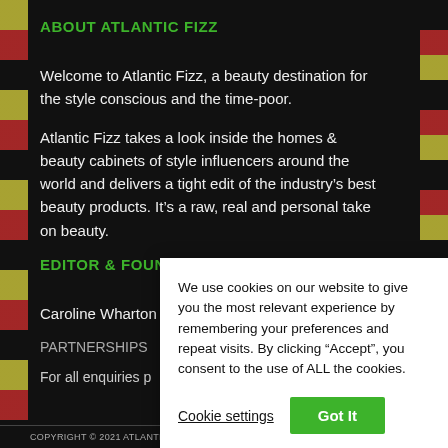ABOUT ATLANTIC FIZZ
Welcome to Atlantic Fizz, a beauty destination for the style conscious and the time-poor.
Atlantic Fizz takes a look inside the homes & beauty cabinets of style influencers around the world and delivers a tight edit of the industry’s best beauty products. It’s a raw, real and personal take on beauty.
EDITOR & FOUNDER
Caroline Wharton
PARTNERSHIPS
For all enquiries p
[Figure (screenshot): Cookie consent banner overlay with text: 'We use cookies on our website to give you the most relevant experience by remembering your preferences and repeat visits. By clicking “Accept”, you consent to the use of ALL the cookies.' with 'Cookie settings' and 'Got It' buttons.]
COPYRIGHT © 2021 ATLANTIC FIZZ. ALL RIGHTS RESERVED.